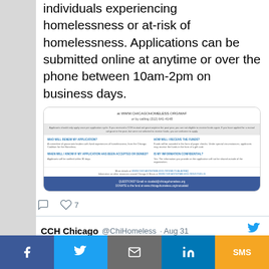individuals experiencing homelessness or at-risk of homelessness. Applications can be submitted online at anytime or over the phone between 10am-2pm on business days.
[Figure (screenshot): Embedded image showing Chicago Coalition for the Homeless Mutual Aid Fund details: website at WWW.CHICAGOHOMELESS.ORG/MAF, phone (312) 641-4148, FAQ sections about who reviews applications, how funds are received, when applicants are notified, and whether information is confidential. Footer with questions and donation info.]
♡ 7
CCH Chicago @ChiHomeless · Aug 31
The mutual aid fund will open September 1st 10am. The program will provide 100 $500 grants to families or individuals experiencing
f  [Twitter]  [Email]  in  SMS